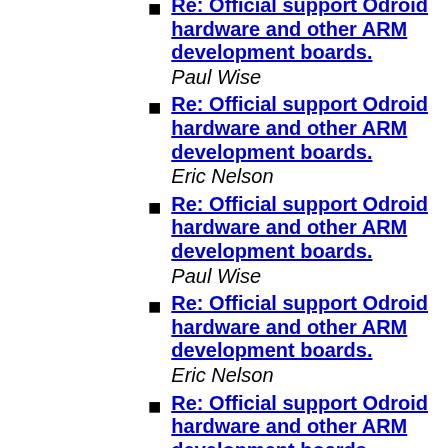Re: Official support Odroid hardware and other ARM development boards.
Paul Wise
Re: Official support Odroid hardware and other ARM development boards.
Eric Nelson
Re: Official support Odroid hardware and other ARM development boards.
Paul Wise
Re: Official support Odroid hardware and other ARM development boards.
Eric Nelson
Re: Official support Odroid hardware and other ARM development boards.
Paul Wise
Re: Official support Odroid hardware and other ARM development boards.
Luke Kenneth Casson Leighton
Re: Official support Odroid hardware and other ARM development boards.
Paul Wise
Re: Official support Odroid hardware and other ARM development boards.
Luke Kenneth Casson Leighton
Re: Official support Odroid hardware and other ARM development boards.